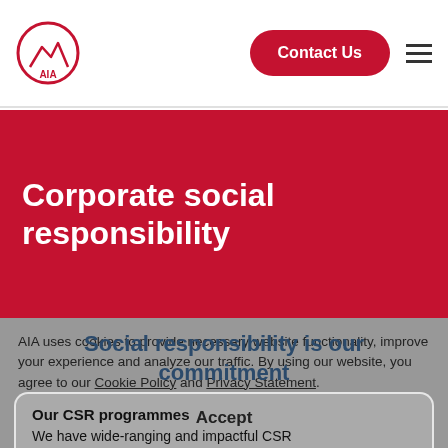[Figure (logo): AIA logo — red circle with mountain/figure silhouette and AIA text]
Contact Us
Corporate social responsibility
Social responsibility is our commitment
AIA uses cookies to provide necessary website functionality, improve your experience and analyze our traffic. By using our website, you agree to our Cookie Policy and Privacy Statement.
Accept
Our CSR programmes
We have wide-ranging and impactful CSR programmes that's key to our Purpose of helping